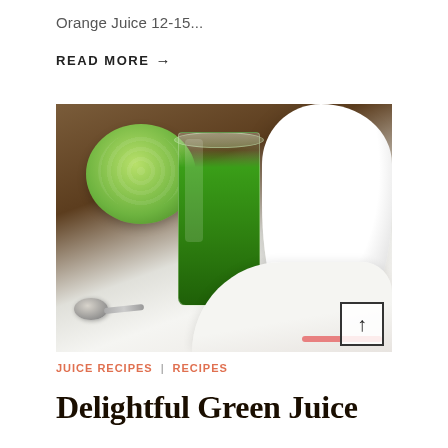Orange Juice 12-15...
READ MORE →
[Figure (photo): A glass of dark green juice next to a head of cabbage and a white pitcher, with a spoon and white napkin on a kitchen counter]
JUICE RECIPES | RECIPES
Delightful Green Juice